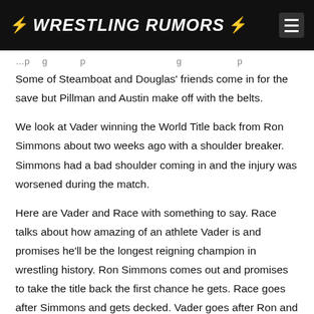⚡ WRESTLING RUMORS ⚡
…p g … p … g … p
Some of Steamboat and Douglas' friends come in for the save but Pillman and Austin make off with the belts.
We look at Vader winning the World Title back from Ron Simmons about two weeks ago with a shoulder breaker. Simmons had a bad shoulder coming in and the injury was worsened during the match.
Here are Vader and Race with something to say. Race talks about how amazing of an athlete Vader is and promises he'll be the longest reigning champion in wrestling history. Ron Simmons comes out and promises to take the title back the first chance he gets. Race goes after Simmons and gets decked. Vader goes after Ron and takes a HUGE spinebuster. Simmons goes after Race again but gets jumped by Vader. The champion